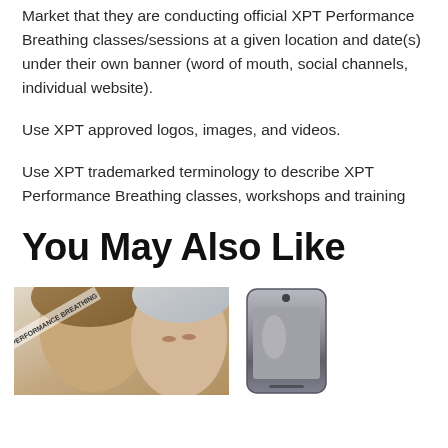Market that they are conducting official XPT Performance Breathing classes/sessions at a given location and date(s) under their own banner (word of mouth, social channels, individual website).
Use XPT approved logos, images, and videos.
Use XPT trademarked terminology to describe XPT Performance Breathing classes, workshops and training
You May Also Like
[Figure (photo): Two people shown: a man with a book/material labeled Performance Breathing and a woman with light hair, plus a smartphone image on the right]